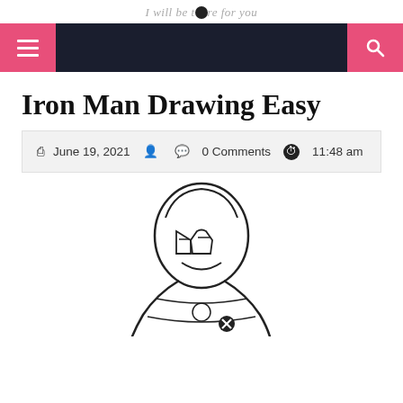I will be there for you
Iron Man Drawing Easy
June 19, 2021  0 Comments  11:48 am
[Figure (illustration): Sketch/line drawing of Iron Man character (head and upper body), partially visible at bottom of page]